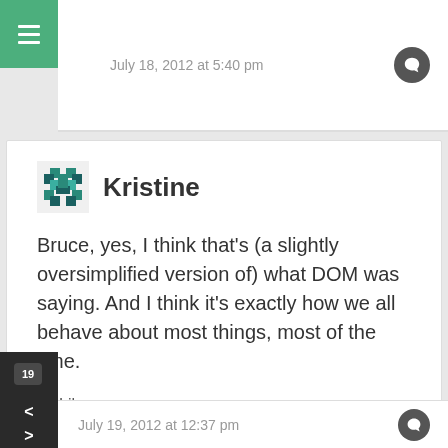July 18, 2012 at 5:40 pm
Kristine
Bruce, yes, I think that’s (a slightly oversimplified version of) what DOM was saying. And I think it’s exactly how we all behave about most things, most of the time.
★ Like
July 19, 2012 at 12:37 pm